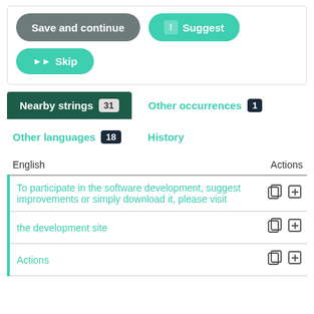[Figure (screenshot): UI panel with Save and continue (grey rounded button), Suggest (teal rounded button with chat icon), and Skip (teal rounded button with skip arrows)]
Nearby strings 31
Other occurrences 1
Other languages 18
History
| English | Actions |
| --- | --- |
| To participate in the software development, suggest improvements or simply download it, please visit | copy/link icons |
| the development site | copy/link icons |
| Actions | copy/link icons |